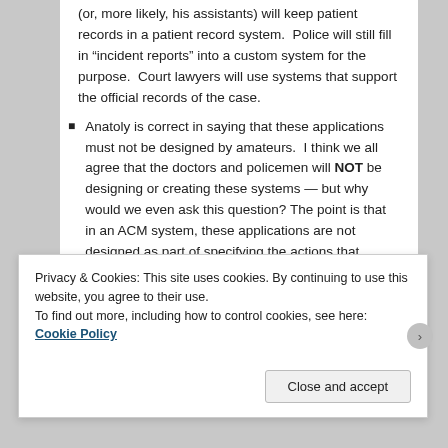(or, more likely, his assistants) will keep patient records in a patient record system.  Police will still fill in “incident reports” into a custom system for the purpose.  Court lawyers will use systems that support the official records of the case.
Anatoly is correct in saying that these applications must not be designed by amateurs.  I think we all agree that the doctors and policemen will NOT be designing or creating these systems — but why would we even ask this question? The point is that in an ACM system, these applications are not designed as part of specifying the actions that...
Privacy & Cookies: This site uses cookies. By continuing to use this website, you agree to their use.
To find out more, including how to control cookies, see here: Cookie Policy